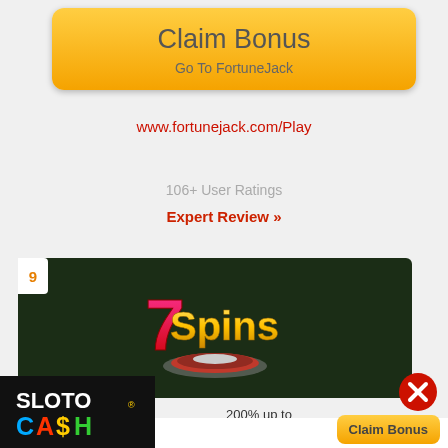[Figure (other): Claim Bonus button for FortuneJack with orange/yellow gradient background, text 'Claim Bonus' and 'Go To FortuneJack']
www.fortunejack.com/Play
106+ User Ratings
Expert Review »
[Figure (logo): 7Spins casino logo on dark green background, with number 9 badge on left side]
200% up to
$2000
Welcome Bonus on 1st Deposit
Deposit $20 & Get
$100 FREE
on 1st Deposit
[Figure (logo): SlotoCash casino logo advertisement at bottom left]
[Figure (other): Red close/X button circle]
[Figure (other): Claim Bonus orange button at bottom right]